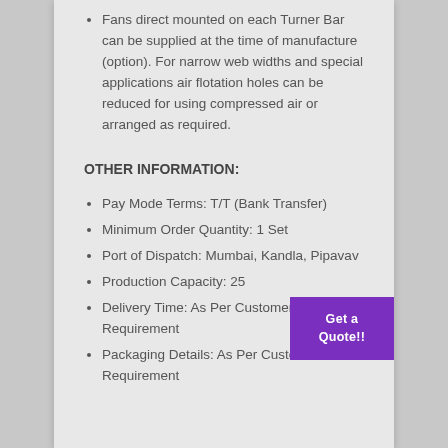Fans direct mounted on each Turner Bar can be supplied at the time of manufacture (option). For narrow web widths and special applications air flotation holes can be reduced for using compressed air or arranged as required.
OTHER INFORMATION:
Pay Mode Terms: T/T (Bank Transfer)
Minimum Order Quantity: 1 Set
Port of Dispatch: Mumbai, Kandla, Pipavav
Production Capacity: 25
Delivery Time: As Per Customer Requirement
Packaging Details: As Per Customer Requirement